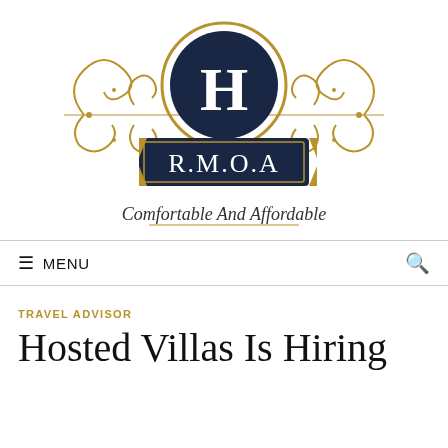[Figure (logo): R.M.O.A logo with ornate golden scrollwork, a dark navy circle with letter H in center, navy rectangular badge with R.M.O.A text, and cursive tagline 'Comfortable And Affordable']
MENU
TRAVEL ADVISOR
Hosted Villas Is Hiring